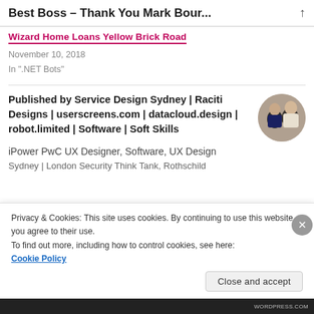Best Boss – Thank You Mark Bour...
Wizard Home Loans Yellow Brick Road
November 10, 2018
In ".NET Bots"
Published by Service Design Sydney | Raciti Designs | userscreens.com | datacloud.design | robot.limited | Software | Soft Skills
iPower PwC UX Designer, Software, UX Design
Sydney | London Security Think Tank, Rothschild
Privacy & Cookies: This site uses cookies. By continuing to use this website, you agree to their use.
To find out more, including how to control cookies, see here:
Cookie Policy
Close and accept